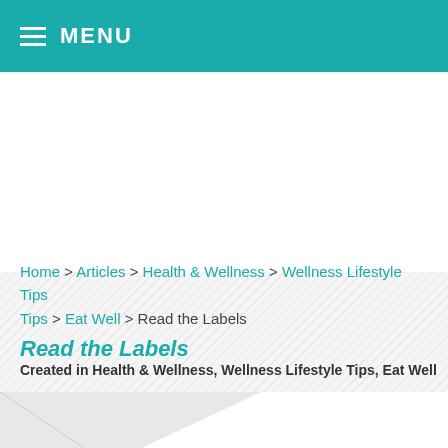MENU
Home > Articles > Health & Wellness > Wellness Lifestyle Tips > Eat Well > Read the Labels
Read the Labels
Created in Health & Wellness, Wellness Lifestyle Tips, Eat Well
[Figure (photo): Close-up photo of a nutrition facts label showing Total Fat 2g, Saturated Fat 0.5g, Trans Fat 0g, Cholesterol 15mg, Sodium 700mg, and partial Carbohydrate rows, angled diagonally]